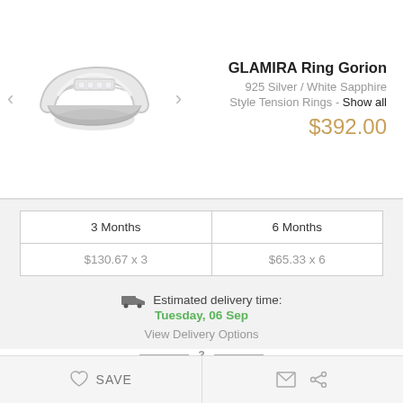[Figure (photo): Silver ring (GLAMIRA Ring Gorion) shown at an angle, with navigation arrows on left and right]
GLAMIRA Ring Gorion
925 Silver / White Sapphire
Style Tension Rings - Show all
$392.00
| 3 Months | 6 Months |
| --- | --- |
| $130.67 x 3 | $65.33 x 6 |
Estimated delivery time: Tuesday, 06 Sep
View Delivery Options
Select an Extended Protection Plan
ADD TO SHOPPING BAG
SAVE
[Figure (illustration): Heart icon (save) and envelope/share icons]